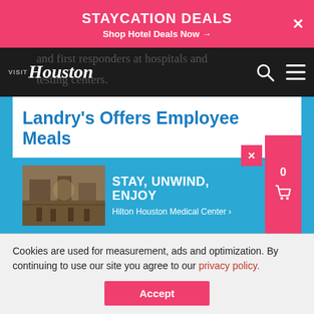STAYCATION DEALS
Shop Hotel Deals Now →
[Figure (screenshot): Visit Houston website navigation bar with logo and search/menu icons]
Landry's Offers Employee Meals
Landry's will continue to offer free meals to employees and their
[Figure (photo): Hotel lobby interior - Hilton Houston Medical Center advertisement: STAY, UNWIND, ENJOY]
Cookies are used for measurement, ads and optimization. By continuing to use our site you agree to our privacy policy.
Accept